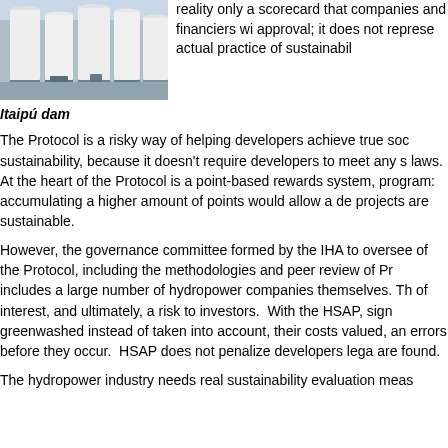[Figure (photo): Photo of the Itaipú dam turbines and infrastructure, showing large cylindrical structures in an industrial setting.]
reality only a scorecard that companies and financiers with approval; it does not represe actual practice of sustainabil
Itaipú dam
The Protocol is a risky way of helping developers achieve true soc sustainability, because it doesn't require developers to meet any s laws. At the heart of the Protocol is a point-based rewards system, program: accumulating a higher amount of points would allow a de projects are sustainable.
However, the governance committee formed by the IHA to oversee of the Protocol, including the methodologies and peer review of Pr includes a large number of hydropower companies themselves. Th of interest, and ultimately, a risk to investors. With the HSAP, sign greenwashed instead of taken into account, their costs valued, an errors before they occur. HSAP does not penalize developers lega are found.
The hydropower industry needs real sustainability evaluation meas